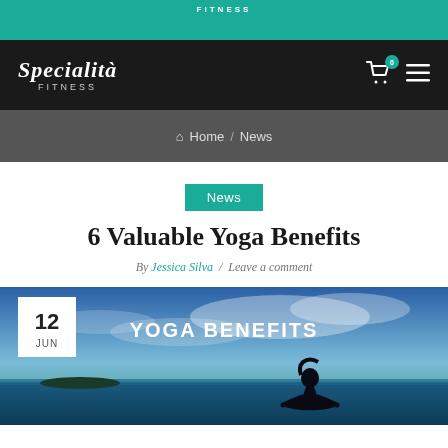FITNESS
[Figure (logo): Specialità FITNESS logo in white on black background, with cart icon (badge: 0) and hamburger menu]
Home / News
News
6 Valuable Yoga Benefits
By Jessica Silva / Leave a comment
[Figure (photo): Hero image showing silhouette of a person meditating in lotus pose against a dramatic sky and ocean background, with white text 'YOGA BENEFITS' at top. Date badge shows 12 JUN in white box at top left.]